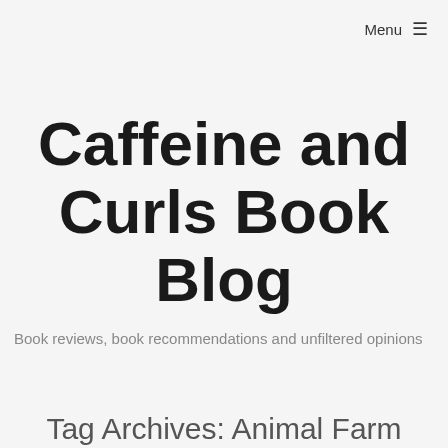Menu ☰
Caffeine and Curls Book Blog
Book reviews, book recommendations and unfiltered opinions
Tag Archives: Animal Farm